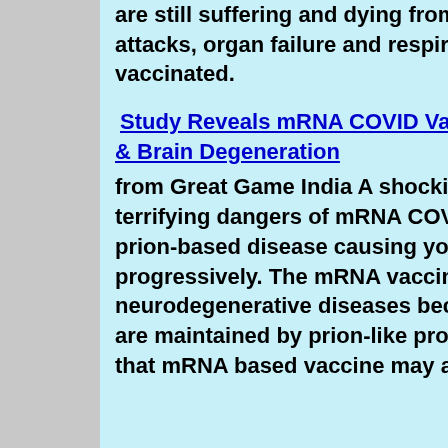are still suffering and dying from allergic reactions, heart attacks, organ failure and respiratory failure soon after being vaccinated.
Study Reveals mRNA COVID Vaccines Link To Prion Disease & Brain Degeneration
from Great Game India A shocking study has revealed the terrifying dangers of mRNA COVID-19 vaccines inducing prion-based disease causing your brain to degenerate progressively. The mRNA vaccine induced prions may cause neurodegenerative diseases because long-term memories are maintained by prion-like proteins. The study concluded that mRNA based vaccine may also cause ALS, front temporal...